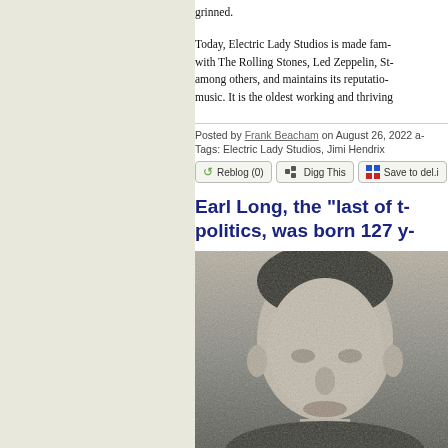grinned.
Today, Electric Lady Studios is made fam- with The Rolling Stones, Led Zeppelin, St- among others, and maintains its reputatio- music. It is the oldest working and thriving
Posted by Frank Beacham on August 26, 2022 a-
Tags: Electric Lady Studios, Jimi Hendrix
Reblog (0)   Digg This   Save to del.i
Earl Long, the "last of t- politics, was born 127 y-
[Figure (photo): Black and white portrait photograph of Earl Long, an older man with short hair, visible ears, and a serious expression.]